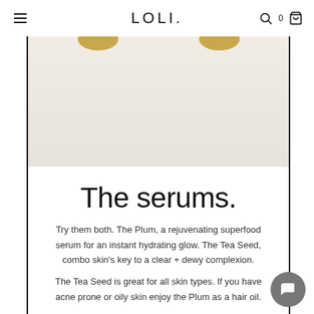LOLI
[Figure (photo): Product photo of two LOLI serums with gold lids on a light cream background, partially cropped at top showing lids only]
The serums.
Try them both. The Plum, a rejuvenating superfood serum for an instant hydrating glow. The Tea Seed, combo skin's key to a clear + dewy complexion.
The Tea Seed is great for all skin types. If you have acne prone or oily skin enjoy the Plum as a hair oil.